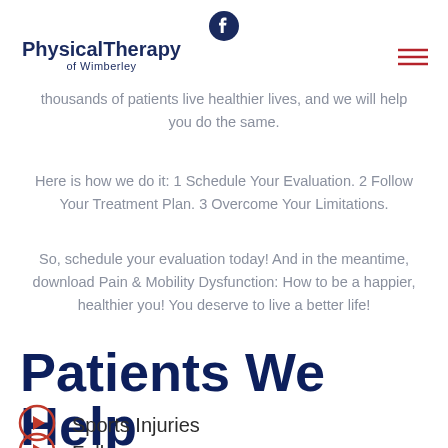Physical Therapy of Wimberley
thousands of patients live healthier lives, and we will help you do the same.
Here is how we do it: 1 Schedule Your Evaluation. 2 Follow Your Treatment Plan. 3 Overcome Your Limitations.
So, schedule your evaluation today! And in the meantime, download Pain & Mobility Dysfunction: How to be a happier, healthier you! You deserve to live a better life!
Patients We Help
Sports Injuries
Falls